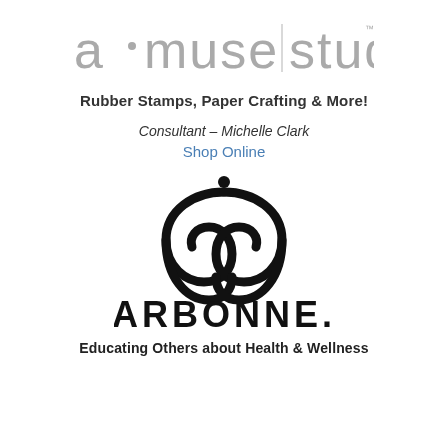[Figure (logo): a·muse | studio logo in gray text with a vertical bar separator]
Rubber Stamps, Paper Crafting & More!
Consultant – Michelle Clark
Shop Online
[Figure (logo): Arbonne logo: stylized circular 'a' symbol with dot above, followed by ARBONNE. in large black text]
Educating Others about Health & Wellness